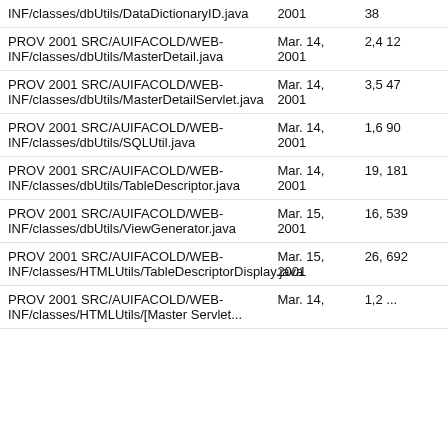| File | Date | Size |
| --- | --- | --- |
| INF/classes/dbUtils/DataDictionaryID.java | 2001 | 38 |
| PROV 2001 SRC/AUIFACOLD/WEB-INF/classes/dbUtils/MasterDetail.java | Mar. 14, 2001 | 2,412 |
| PROV 2001 SRC/AUIFACOLD/WEB-INF/classes/dbUtils/MasterDetailServlet.java | Mar. 14, 2001 | 3,547 |
| PROV 2001 SRC/AUIFACOLD/WEB-INF/classes/dbUtils/SQLUtil.java | Mar. 14, 2001 | 1,690 |
| PROV 2001 SRC/AUIFACOLD/WEB-INF/classes/dbUtils/TableDescriptor.java | Mar. 14, 2001 | 19,181 |
| PROV 2001 SRC/AUIFACOLD/WEB-INF/classes/dbUtils/ViewGenerator.java | Mar. 15, 2001 | 16,539 |
| PROV 2001 SRC/AUIFACOLD/WEB-INF/classes/HTMLUtils/TableDescriptorDisplay.java | Mar. 15, 2001 | 26,692 |
| PROV 2001 SRC/AUIFACOLD/WEB-INF/classes/HTMLUtils/[truncated] | Mar. 14, | 1,2... |